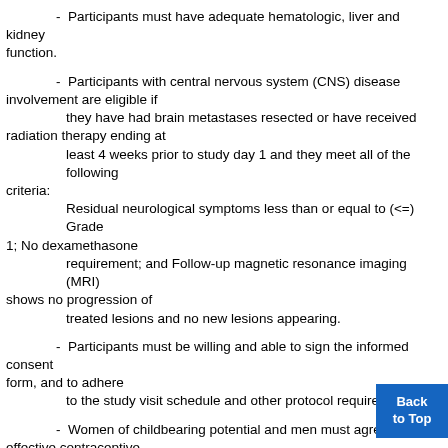-  Participants must have adequate hematologic, liver and kidney function.
-  Participants with central nervous system (CNS) disease involvement are eligible if they have had brain metastases resected or have received radiation therapy ending at least 4 weeks prior to study day 1 and they meet all of the following criteria: Residual neurological symptoms less than or equal to (<=) Grade 1; No dexamethasone requirement; and Follow-up magnetic resonance imaging (MRI) shows no progression of treated lesions and no new lesions appearing.
-  Participants must be willing and able to sign the informed consent form, and to adhere to the study visit schedule and other protocol requirements.
-  Women of childbearing potential and men must agree to use effective contraceptive methods while on study and for at least twelve weeks a[fter last] dose of study